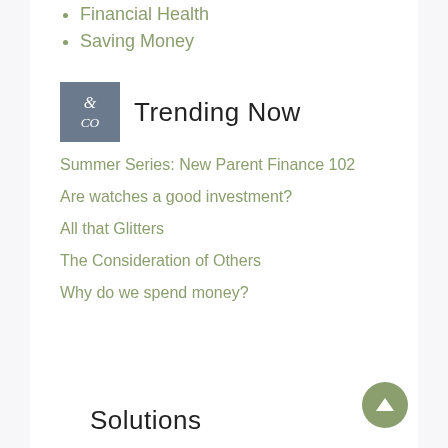Financial Health
Saving Money
Trending Now
Summer Series: New Parent Finance 102
Are watches a good investment?
All that Glitters
The Consideration of Others
Why do we spend money?
Solutions